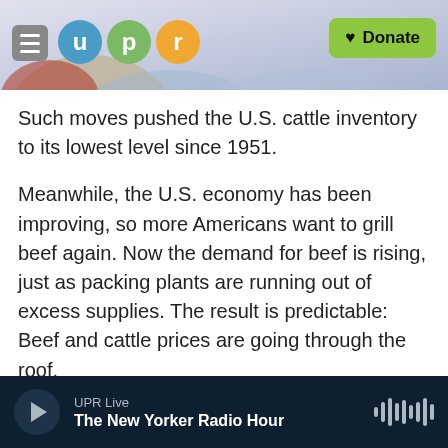[Figure (screenshot): UPR website header with menu button, UPR logo circles (u, p, r in teal, green, orange), decorative landscape background, and green Donate button]
Such moves pushed the U.S. cattle inventory to its lowest level since 1951.
Meanwhile, the U.S. economy has been improving, so more Americans want to grill beef again. Now the demand for beef is rising, just as packing plants are running out of excess supplies. The result is predictable: Beef and cattle prices are going through the roof.
Consumers may hate it, but those higher prices are making it possible for ranchers to purchase expensive feed in those areas — like the Texas
UPR Live
The New Yorker Radio Hour